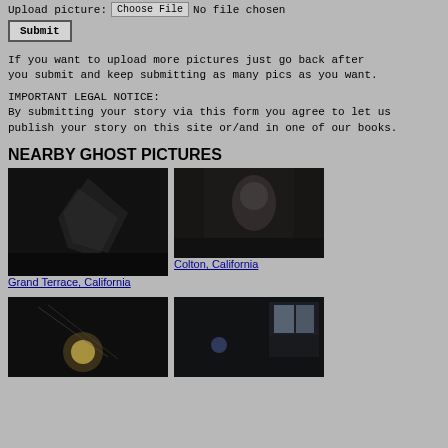Upload picture: Choose File  No file chosen
Submit
If you want to upload more pictures just go back after you submit and keep submitting as many pics as you want.
IMPORTANT LEGAL NOTICE:
By submitting your story via this form you agree to let us publish your story on this site or/and in one of our books.
NEARBY GHOST PICTURES
[Figure (photo): Dark nighttime photo, possibly showing a ghost or light anomaly - Grand Terrace, California]
Grand Terrace, California
[Figure (photo): Dark nighttime photo showing a figure or apparition - Colton, California]
Colton, California
[Figure (photo): Dark photo showing a bright light or orb anomaly]
[Figure (photo): Dark indoor photo showing window light]